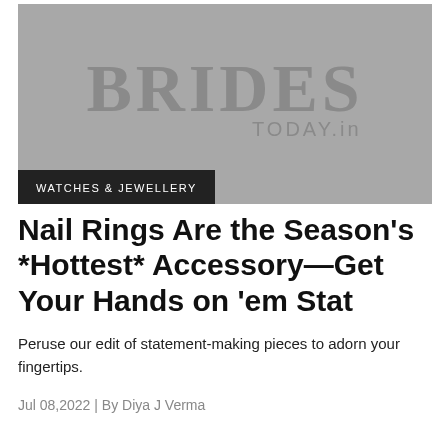[Figure (logo): Brides TODAY.in logo on grey background with WATCHES & JEWELLERY category badge overlay]
Nail Rings Are the Season's *Hottest* Accessory—Get Your Hands on 'em Stat
Peruse our edit of statement-making pieces to adorn your fingertips.
Jul 08,2022 | By Diya J Verma